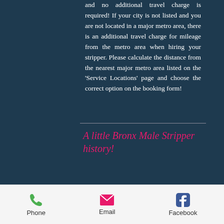and no additional travel charge is required! If your city is not listed and you are not located in a major metro area, there is an additional travel charge for mileage from the metro area when hiring your stripper. Please calculate the distance from the nearest major metro area listed on the 'Service Locations' page and choose the correct option on the booking form!
A little Bronx Male Stripper history!
Phone  Email  Facebook